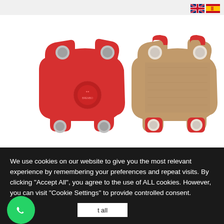[Figure (photo): Two brake pads shown side by side on a white background. Left pad is red/orange colored (back plate visible), right pad shows the friction material side in tan/brown color. Both pads have a similar irregular shape with mounting holes.]
[Figure (other): Language selector flags: UK flag (English) and Spanish flag, positioned top right.]
We use cookies on our website to give you the most relevant experience by remembering your preferences and repeat visits. By clicking "Accept All", you agree to the use of ALL cookies. However, you can visit "Cookie Settings" to provide controlled consent.
[Figure (other): WhatsApp icon button (green circle with white phone handset icon)]
t all